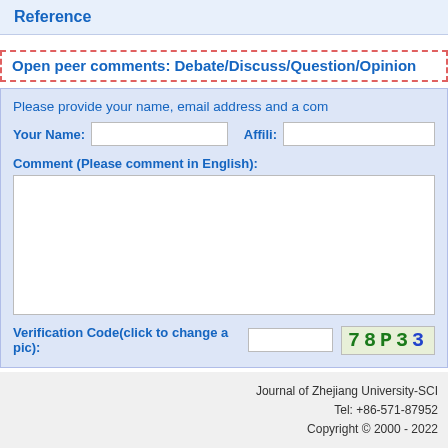Reference
Open peer comments: Debate/Discuss/Question/Opinion
Please provide your name, email address and a com
Your Name: [input] Affili: [input]
Comment (Please comment in English):
Verification Code(click to change a pic): [input] 78P33
Journal of Zhejiang University-SCI
Tel: +86-571-87952
Copyright © 2000 - 2022